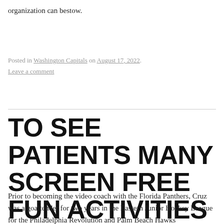organization can bestow.
Posted in Washington Capitals on August 17, 2022. Leave a comment
TO SEE PATIENTS MANY SCREEN FREE FUN ACTIVITIES LINE
Prior to becoming the video coach with the Florida Panthers, Cruz was a goaltender for two years in the Eastern Junior Hockey League for the Philadelphia Revolution and Palm Beach Hawks